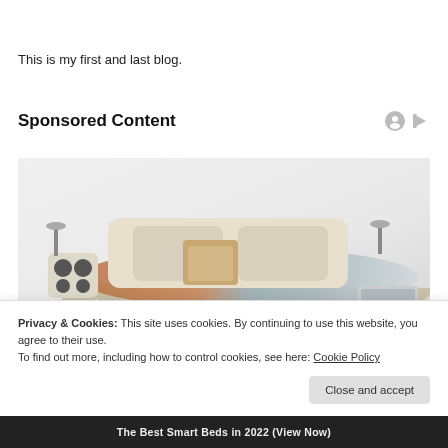This is my first and last blog.
Sponsored Content
[Figure (photo): A smart/luxury bed with speakers, recliner side panels, built-in lighting, a striped mattress surface, and a laptop. The bed appears to be a high-tech multi-feature furniture piece.]
Privacy & Cookies: This site uses cookies. By continuing to use this website, you agree to their use.
To find out more, including how to control cookies, see here: Cookie Policy
The Best Smart Beds in 2022 (View Now)